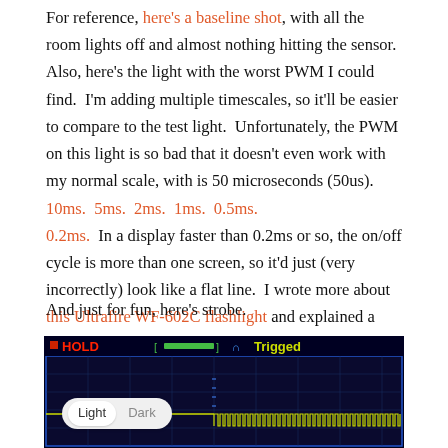For reference, here's a baseline shot, with all the room lights off and almost nothing hitting the sensor.  Also, here's the light with the worst PWM I could find.  I'm adding multiple timescales, so it'll be easier to compare to the test light.  Unfortunately, the PWM on this light is so bad that it doesn't even work with my normal scale, with is 50 microseconds (50us).  10ms.  5ms.  2ms.  1ms.  0.5ms.  0.2ms.  In a display faster than 0.2ms or so, the on/off cycle is more than one screen, so it'd just (very incorrectly) look like a flat line.  I wrote more about this Ultrafire WF-602C flashlight and explained a little about PWM too.
And just for fun, here's strobe.
[Figure (screenshot): Oscilloscope screenshot showing a strobe light waveform. Screen displays 'HOLD' in red on top left, a green trigger bar in the center top, 'Trigged' in yellow on the top right with a trigger symbol. The waveform shows a flat line on the left half and dense rapid square wave pulses on the right half, displayed in yellow-green against a dark blue/black grid background.]